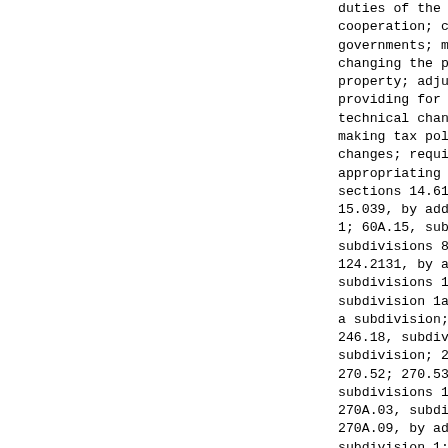duties of the board of government innov cooperation; changing certain aids to l governments; modifying revenue recaptur changing the property tax treatment of property; adjusting the amount of the b providing for dedication of certain rev technical changes, corrections, and cla making tax policy, collection, and admi changes; requiring studies; imposing pe appropriating money; amending Minnesota sections 14.61; 14.62, by adding a subd 15.039, by adding a subdivision; 16A.15 1; 60A.15, subdivisions 1 and 12; 60A.1 subdivisions 8 and 10; 69.021, subdivis 124.2131, by adding a subdivision; 124. subdivisions 1 and 2; 168.012, subdivis subdivision 1a; 168.017, subdivision 3, a subdivision; 216C.01, subdivisions 1a 246.18, subdivision 4, as amended, and subdivision; 270.47; 270.48; 270.485; 2 270.52; 270.53; 270.69, subdivision 10; subdivisions 1, 2, and 3; 270.79, subdi 270A.03, subdivision 7; 270A.07, subdiv 270A.09, by adding a subdivision; 270A. subdivision 1; 270B.12, subdivision 2,